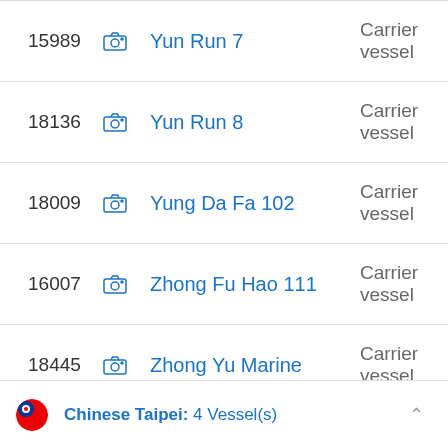| ID |  | Name | Type | Par |
| --- | --- | --- | --- | --- |
| 15989 | [camera] | Yun Run 7 | Carrier vessel | Par |
| 18136 | [camera] | Yun Run 8 | Carrier vessel | Par |
| 18009 | [camera] | Yung Da Fa 102 | Carrier vessel | Par |
| 16007 | [camera] | Zhong Fu Hao 111 | Carrier vessel | Par |
| 18445 | [camera] | Zhong Yu Marine | Carrier vessel | Par |
Chinese Taipei: 4 Vessel(s)